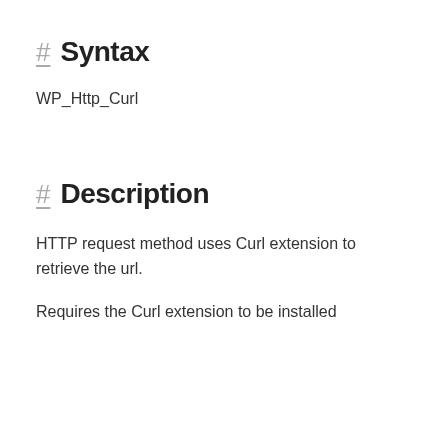# Syntax
WP_Http_Curl
# Description
HTTP request method uses Curl extension to retrieve the url.
Requires the Curl extension to be installed